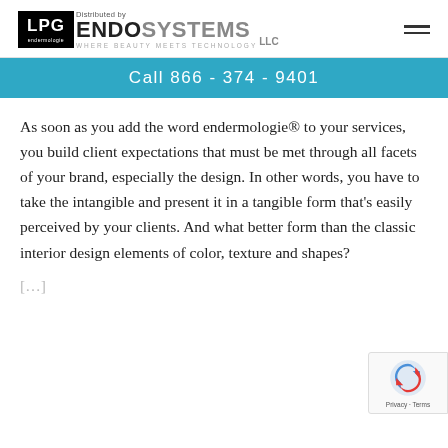[Figure (logo): LPG Endermologie logo with 'Distributed by ENDOSYSTEMS LLC, WHERE BEAUTY MEETS TECHNOLOGY' text and hamburger menu icon]
Call 866 - 374 - 9401
As soon as you add the word endermologie® to your services, you build client expectations that must be met through all facets of your brand, especially the design. In other words, you have to take the intangible and present it in a tangible form that's easily perceived by your clients. And what better form than the classic interior design elements of color, texture and shapes?